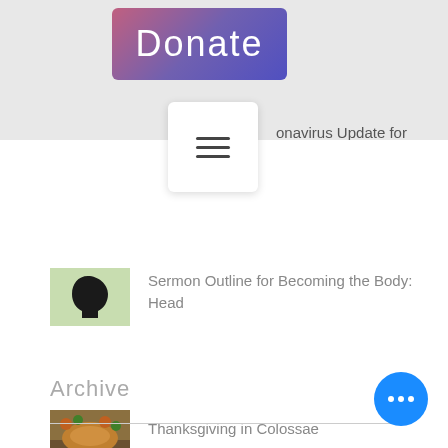[Figure (screenshot): Donate button with purple-pink gradient background]
[Figure (screenshot): Hamburger menu icon (three horizontal lines) on white card overlay]
onavirus Update for April n 2020
[Figure (illustration): Thumbnail image for sermon outline: silhouette of head on green background]
Sermon Outline for Becoming the Body: Head
[Figure (photo): Thumbnail image of food dish for Thanksgiving in Colossae article]
Thanksgiving in Colossae
Archive